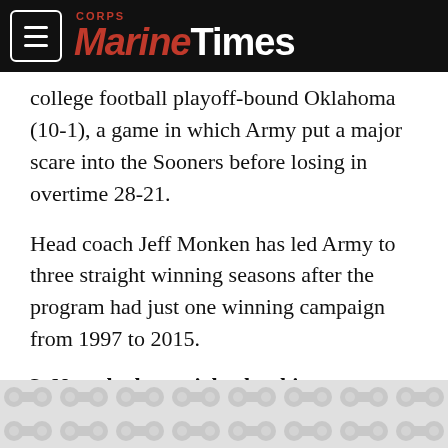Marine Corps Times
college football playoff-bound Oklahoma (10-1), a game in which Army put a major scare into the Sooners before losing in overtime 28-21.
Head coach Jeff Monken has led Army to three straight winning seasons after the program had just one winning campaign from 1997 to 2015.
3. Navy looks to right the ship.
While Army's success continues to mount, the Midshipmen (3-9) have been trending in the opposite direction.
[Figure (other): Advertisement banner with decorative circular pattern]